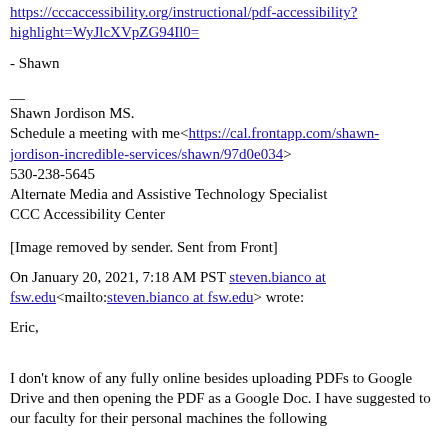https://cccaccessibility.org/instructional/pdf-accessibility?highlight=WyJlcXVpZG94Il0=
- Shawn
__
Shawn Jordison MS.
Schedule a meeting with me<https://cal.frontapp.com/shawn-jordison-incredible-services/shawn/97d0e034>
530-238-5645
Alternate Media and Assistive Technology Specialist
CCC Accessibility Center
[Image removed by sender. Sent from Front]
On January 20, 2021, 7:18 AM PST steven.bianco at fsw.edu<mailto:steven.bianco at fsw.edu> wrote:
Eric,
I don't know of any fully online besides uploading PDFs to Google Drive and then opening the PDF as a Google Doc. I have suggested to our faculty for their personal machines the following